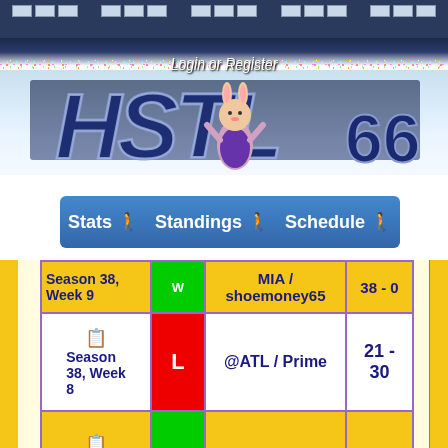[Figure (screenshot): HSTL 66 sports game website header banner with stadium crowd, mascot, and logo]
Login or Register
Stats  Standings  Schedule
| Season | Result | Opponent | Score |
| --- | --- | --- | --- |
| Season 38, Week 9 | W (partial) | MIA / shoemoney65 | 38 - 0 (partial) |
| Season 38, Week 8 | L | @ATL / Prime | 21 - 30 |
| Season 38, Week 7 | W | GB / DarthRockman | 17 - 14 |